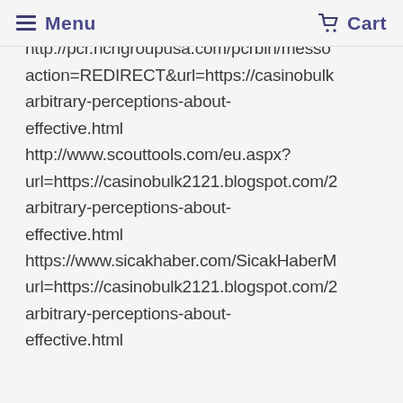Menu   Cart
http://pcr.nchgroupusa.com/pcrbin/messo action=REDIRECT&url=https://casinobulk arbitrary-perceptions-about-effective.html http://www.scouttools.com/eu.aspx?url=https://casinobulk2121.blogspot.com/2 arbitrary-perceptions-about-effective.html https://www.sicakhaber.com/SicakHaberM url=https://casinobulk2121.blogspot.com/2 arbitrary-perceptions-about-effective.html